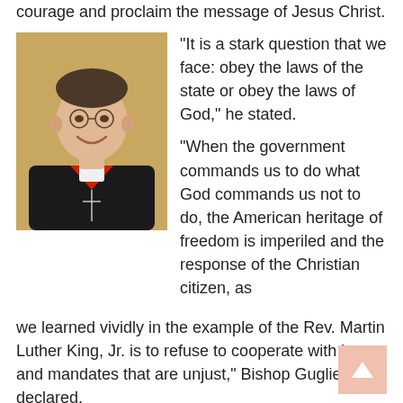courage and proclaim the message of Jesus Christ.
[Figure (photo): Portrait photo of a bishop wearing black clerical attire with red accents and a white collar, smiling, against a tan/gold background.]
“It is a stark question that we face: obey the laws of the state or obey the laws of God,” he stated.
“When the government commands us to do what God commands us not to do, the American heritage of freedom is imperiled and the response of the Christian citizen, as we learned vividly in the example of the Rev. Martin Luther King, Jr. is to refuse to cooperate with laws and mandates that are unjust,” Bishop Guglielmone declared.
He stressed that the battle for religious freedom isn’t just about the health care mandate, but encompasses numerous threats, including the ability to offer pastoral care to undocumented immigrants.
The definition of religion has become so narrow, he said, that it only recognizes houses of worship, excluding any and all